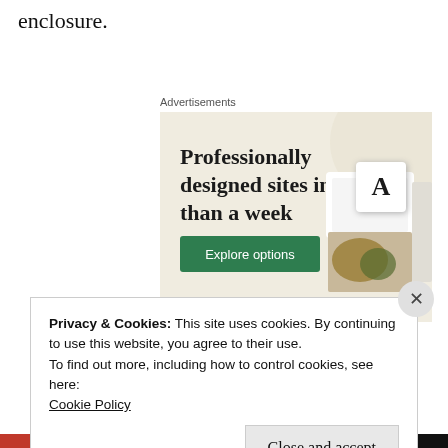enclosure.
Advertisements
[Figure (screenshot): Advertisement for a website builder service. Beige background with bold text reading 'Professionally designed sites in less than a week', a green 'Explore options' button, and mockup screenshots of websites on the right side.]
Privacy & Cookies: This site uses cookies. By continuing to use this website, you agree to their use.
To find out more, including how to control cookies, see here:
Cookie Policy
Close and accept